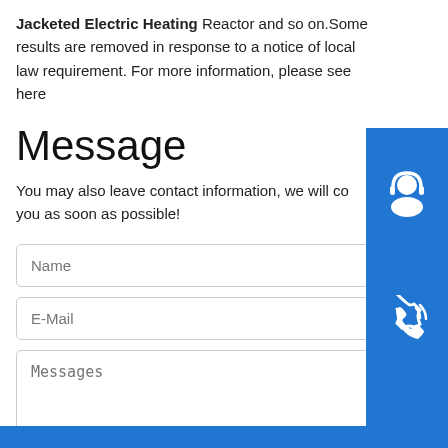Jacketed Electric Heating Reactor and so on.Some results are removed in response to a notice of local law requirement. For more information, please see here
Message
You may also leave contact information, we will contact you as soon as possible!
Name
E-Mail
Messages
Send Message